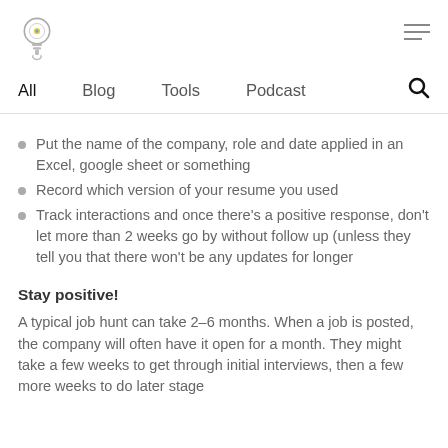[Logo and hamburger menu]
All  Blog  Tools  Podcast  [search icon]
Put the name of the company, role and date applied in an Excel, google sheet or something
Record which version of your resume you used
Track interactions and once there's a positive response, don't let more than 2 weeks go by without follow up (unless they tell you that there won't be any updates for longer
Stay positive!
A typical job hunt can take 2–6 months. When a job is posted, the company will often have it open for a month. They might take a few weeks to get through initial interviews, then a few more weeks to do later stage